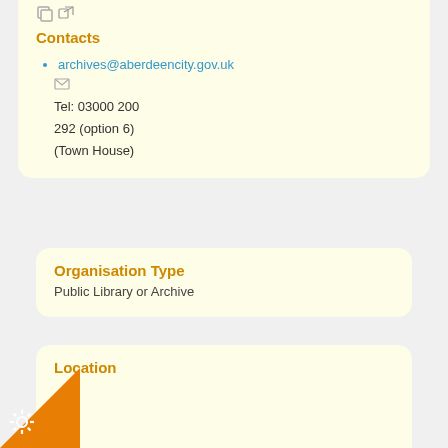Contacts
archives@aberdeencity.gov.uk
Tel: 03000 200
292 (option 6)
(Town House)
Organisation Type
Public Library or Archive
Location